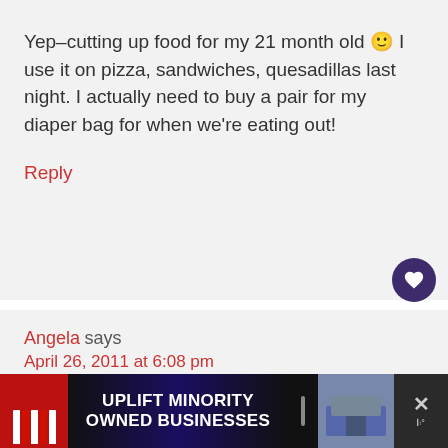Yep–cutting up food for my 21 month old 🙂 I use it on pizza, sandwiches, quesadillas last night. I actually need to buy a pair for my diaper bag for when we're eating out!
Reply
Angela says
April 26, 2011 at 6:08 pm
Oh, so true! Kitchen shears are one of
[Figure (screenshot): Advertisement banner: UPLIFT MINORITY OWNED BUSINESSES]
[Figure (other): What's Next panel: Slow Cooker Beef and...]